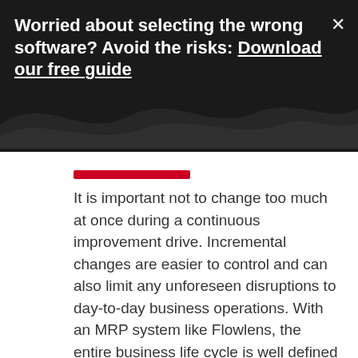Worried about selecting the wrong software? Avoid the risks: Download our free guide
[Figure (illustration): Red decorative bar / underline element above the body text]
It is important not to change too much at once during a continuous improvement drive. Incremental changes are easier to control and can also limit any unforeseen disruptions to day-to-day business operations. With an MRP system like Flowlens, the entire business life cycle is well defined and integrated into how the business operates. As such it's simple to see the effect of changes brought through on a monthly